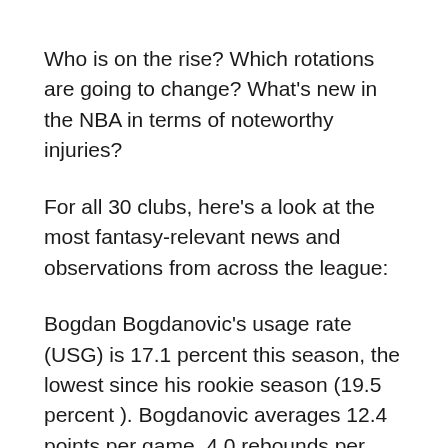Who is on the rise? Which rotations are going to change? What's new in the NBA in terms of noteworthy injuries?
For all 30 clubs, here's a look at the most fantasy-relevant news and observations from across the league:
Bogdan Bogdanovic's usage rate (USG) is 17.1 percent this season, the lowest since his rookie season (19.5 percent ). Bogdanovic averages 12.4 points per game, 4.0 rebounds per game, and 2.2 assists per game in 29.7 minutes per game. He's a strong supplier of points and threes in just 67.4